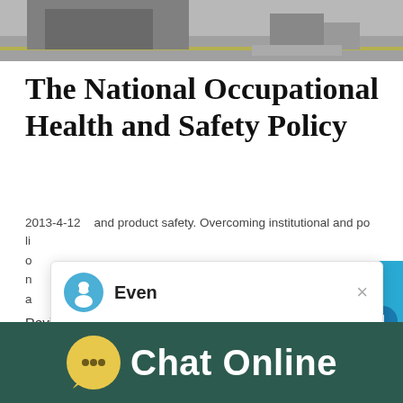[Figure (photo): Grayscale photo showing industrial/warehouse floor with machinery or vehicle]
The National Occupational Health and Safety Policy
2013-4-12   and product safety. Overcoming institutional and po li o n n a
Capacity
422T/H
Reviews
[Figure (screenshot): Chat popup with avatar labeled Even and message: Hello, I am Even, I am very glad to talk with you!]
[Figure (screenshot): Blue side panel with notification badge showing 1 and Click me to chat button and Enquiry section]
Chat Online